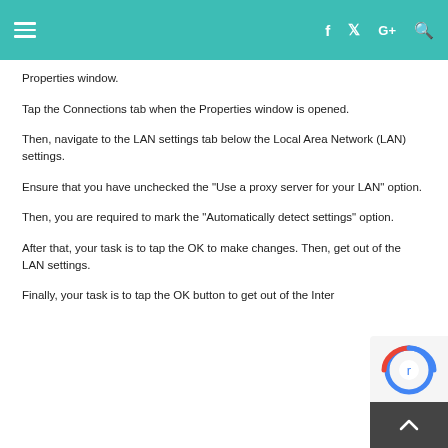Properties window.
Tap the Connections tab when the Properties window is opened.
Then, navigate to the LAN settings tab below the Local Area Network (LAN) settings.
Ensure that you have unchecked the "Use a proxy server for your LAN" option.
Then, you are required to mark the "Automatically detect settings" option.
After that, your task is to tap the OK to make changes. Then, get out of the LAN settings.
Finally, your task is to tap the OK button to get out of the Inter…